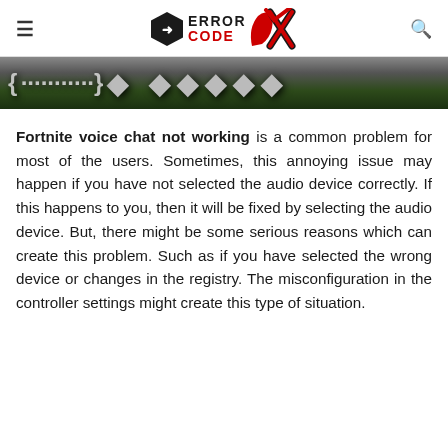Error Code OX logo with hamburger menu and search icon
[Figure (screenshot): Cropped banner image showing partial dark text on gray/green background, partially cut off at top]
Fortnite voice chat not working is a common problem for most of the users. Sometimes, this annoying issue may happen if you have not selected the audio device correctly. If this happens to you, then it will be fixed by selecting the audio device. But, there might be some serious reasons which can create this problem. Such as if you have selected the wrong device or changes in the registry. The misconfiguration in the controller settings might create this type of situation.